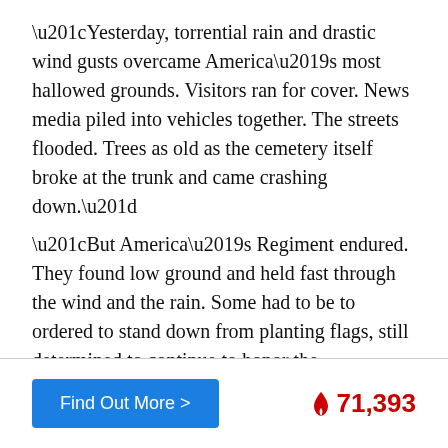“Yesterday, torrential rain and drastic wind gusts overcame America’s most hallowed grounds. Visitors ran for cover. News media piled into vehicles together. The streets flooded. Trees as old as the cemetery itself broke at the trunk and came crashing down.”
“But America’s Regiment endured. They found low ground and held fast through the wind and the rain. Some had to be to ordered to stand down from planting flags, still determined to continue to honor the fallen.”
Find Out More >
71,393